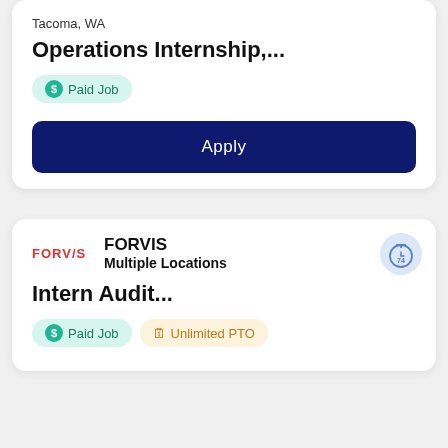Tacoma, WA
Operations Internship,...
Paid Job
Apply
FORVIS
Multiple Locations
Intern Audit...
Paid Job
Unlimited PTO